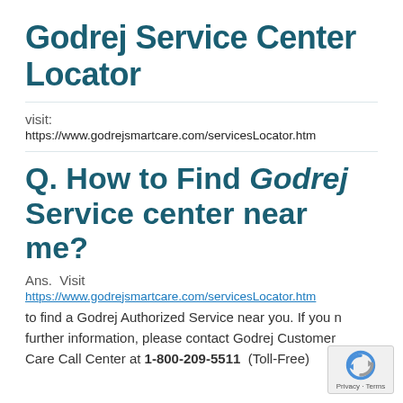Godrej Service Center Locator
visit:
https://www.godrejsmartcare.com/servicesLocator.htm
Q. How to Find Godrej Service center near me?
Ans.  Visit
https://www.godrejsmartcare.com/servicesLocator.htm
to find a Godrej Authorized Service near you. If you need further information, please contact Godrej Customer Care Call Center at 1-800-209-5511  (Toll-Free)